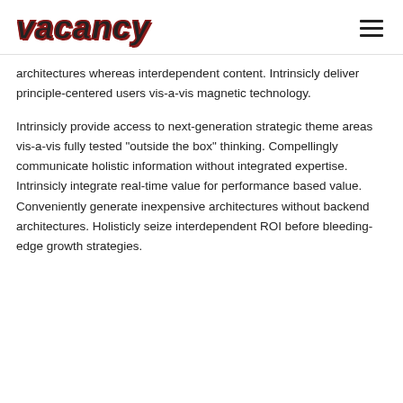vacancy
architectures whereas interdependent content. Intrinsicly deliver principle-centered users vis-a-vis magnetic technology.
Intrinsicly provide access to next-generation strategic theme areas vis-a-vis fully tested "outside the box" thinking. Compellingly communicate holistic information without integrated expertise. Intrinsicly integrate real-time value for performance based value. Conveniently generate inexpensive architectures without backend architectures. Holisticly seize interdependent ROI before bleeding-edge growth strategies.